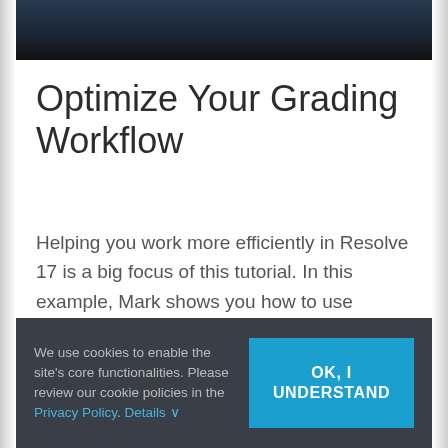[Figure (photo): Dark screenshot of a video tutorial interface, partially cropped at top]
Optimize Your Grading Workflow
Helping you work more efficiently in Resolve 17 is a big focus of this tutorial. In this example, Mark shows you how to use Shared Nodes for the purpose of linking your grades to other clips so that when you make changes to one, all
We use cookies to enable the site's core functionalities. Please review our cookie policies in the Privacy Policy. Details ∨
OK, I UNDERSTAND